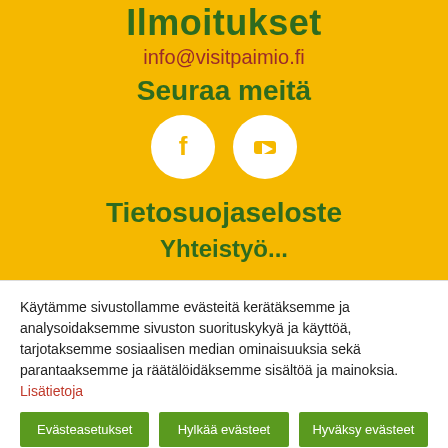Ilmoitukset
info@visitpaimio.fi
Seuraa meitä
[Figure (illustration): Two white circular social media icons on yellow background: Facebook and YouTube logos]
Tietosuojaseloste
Yhteistyö...
Käytämme sivustollamme evästeitä kerätäksemme ja analysoidaksemme sivuston suorituskykyä ja käyttöä, tarjotaksemme sosiaalisen median ominaisuuksia sekä parantaaksemme ja räätälöidäksemme sisältöä ja mainoksia. Lisätietoja
Evästeasetukset | Hylkää evästeet | Hyväksy evästeet